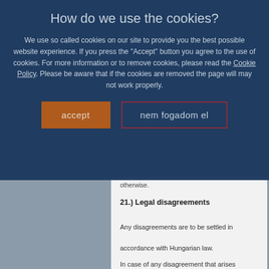How do we use the cookies?
We use so called cookies on our site to provide you the best possible website experience. If you press the "Accept" button you agree to the use of cookies. For more information or to remove cookies, please read the Cookie Policy. Please be aware that if the cookies are removed the page will may not work properly.
otherwise.
21.) Legal disagreements
Any disagreements are to be settled in accordance with Hungarian law.
In case of any disagreement that arises